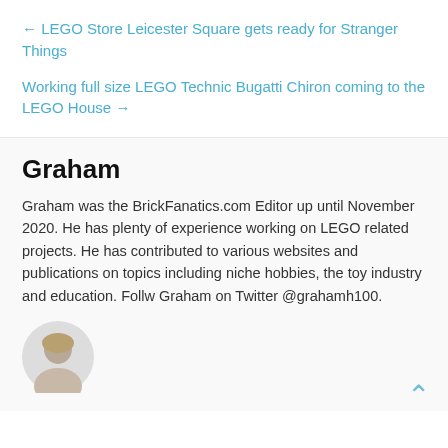← LEGO Store Leicester Square gets ready for Stranger Things
Working full size LEGO Technic Bugatti Chiron coming to the LEGO House →
Graham
Graham was the BrickFanatics.com Editor up until November 2020. He has plenty of experience working on LEGO related projects. He has contributed to various websites and publications on topics including niche hobbies, the toy industry and education. Follw Graham on Twitter @grahamh100.
[Figure (photo): Circular avatar photo of Graham, showing the top of a person's head with light brown hair against a light background.]